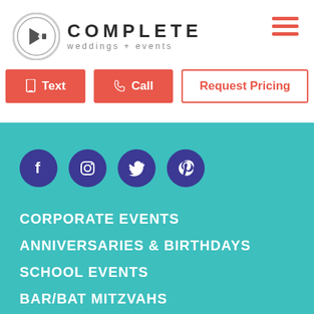[Figure (logo): Complete Weddings + Events logo with circular C icon and hamburger menu icon]
[Figure (other): Three buttons: Text (red filled), Call (red filled), Request Pricing (red outline)]
[Figure (other): Teal section with social media icons (Facebook, Instagram, Twitter, Pinterest) in purple circles]
CORPORATE EVENTS
ANNIVERSARIES & BIRTHDAYS
SCHOOL EVENTS
BAR/BAT MITZVAHS
ABOUT